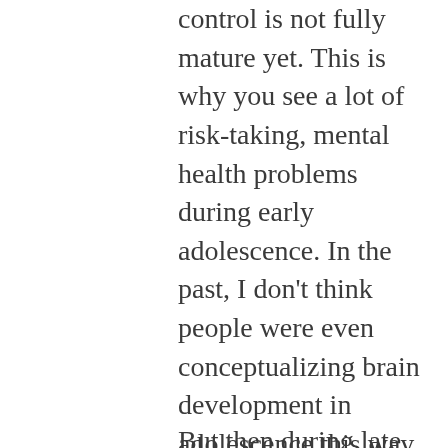control is not fully mature yet. This is why you see a lot of risk-taking, mental health problems during early adolescence. In the past, I don't think people were even conceptualizing brain development in adolescence this way.
But then during late adolescence and young adulthood, our self-regulation system matures, which allows us to be in better control of our impulses. This is the result of improved connectivity between the prefrontal cortex and other brain regions, which isn't